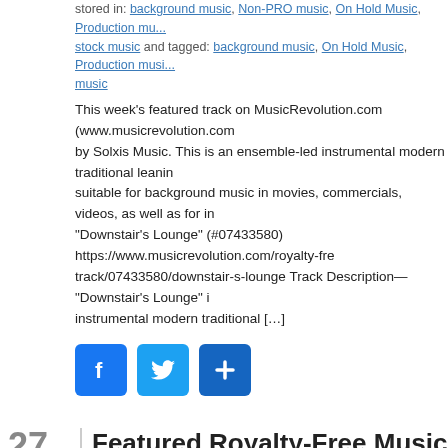stored in: background music, Non-PRO music, On Hold Music, Production music, stock music and tagged: background music, On Hold Music, Production music, music
This week's featured track on MusicRevolution.com (www.musicrevolution.com) by Solxis Music. This is an ensemble-led instrumental modern traditional leaning suitable for background music in movies, commercials, videos, as well as for in... "Downstair's Lounge" (#07433580) https://www.musicrevolution.com/royalty-free-track/07433580/downstair-s-lounge Track Description— "Downstair's Lounge" is instrumental modern traditional […]
[Figure (other): Social sharing buttons: Facebook (blue), Twitter (light blue), Share/Add (dark blue)]
27 JUL
Featured Royalty-Free Music Track – "M... Kristobaly – Romantic, Dramatic Music
stored in: background music, Production music, royalty free music, stock music, music, Production music, royalty free music, stock music
This week's featured track on MusicRevolution.com (www.musicrevolution.com) Kristobaly. This is a romantic, sentimental, dramatic track that is perfect for film... programming. "My Story" (#02016283) https://www.musicrevolution.com/royalty...